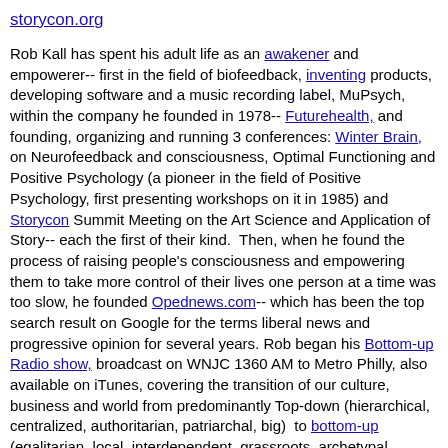storycon.org
Rob Kall has spent his adult life as an awakener and empowerer-- first in the field of biofeedback, inventing products, developing software and a music recording label, MuPsych, within the company he founded in 1978-- Futurehealth, and founding, organizing and running 3 conferences: Winter Brain, on Neurofeedback and consciousness, Optimal Functioning and Positive Psychology (a pioneer in the field of Positive Psychology, first presenting workshops on it in 1985) and Storycon Summit Meeting on the Art Science and Application of Story-- each the first of their kind.  Then, when he found the process of raising people's consciousness and empowering them to take more control of their lives one person at a time was too slow, he founded Opednews.com-- which has been the top search result on Google for the terms liberal news and progressive opinion for several years. Rob began his Bottom-up Radio show, broadcast on WNJC 1360 AM to Metro Philly, also available on iTunes, covering the transition of our culture, business and world from predominantly Top-down (hierarchical, centralized, authoritarian, patriarchal, big)  to bottom-up (egalitarian, local, interdependent, grassroots, archetypal feminine and small.) Recent long-term projects include a book, Bottom-up-- The Connection